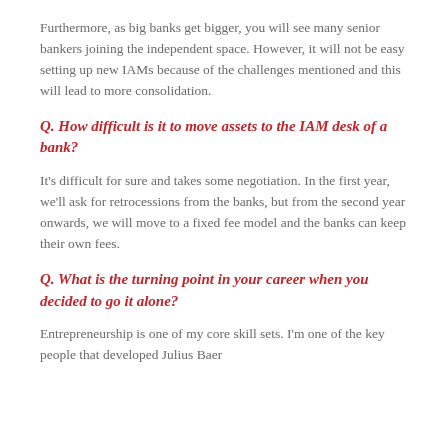Furthermore, as big banks get bigger, you will see many senior bankers joining the independent space. However, it will not be easy setting up new IAMs because of the challenges mentioned and this will lead to more consolidation.
Q. How difficult is it to move assets to the IAM desk of a bank?
It's difficult for sure and takes some negotiation. In the first year, we'll ask for retrocessions from the banks, but from the second year onwards, we will move to a fixed fee model and the banks can keep their own fees.
Q. What is the turning point in your career when you decided to go it alone?
Entrepreneurship is one of my core skill sets. I'm one of the key people that developed Julius Baer